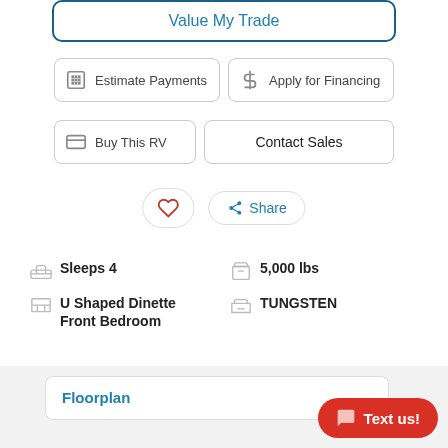Value My Trade
Estimate Payments
Apply for Financing
Buy This RV
Contact Sales
Share
Sleeps 4
5,000 lbs
U Shaped Dinette Front Bedroom
TUNGSTEN
Floorplan
Text us!